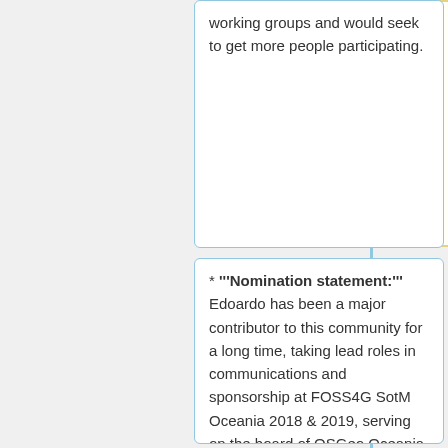working groups and would seek to get more people participating.
* '''Nomination statement:''' Edoardo has been a major contributor to this community for a long time, taking lead roles in communications and sponsorship at FOSS4G SotM Oceania 2018 & 2019, serving on the board of OSGeo Oceania in 2019, chairing the